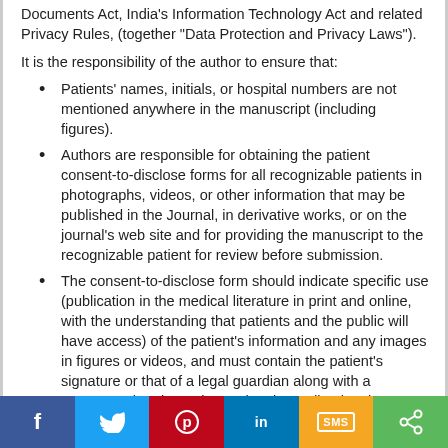Documents Act, India's Information Technology Act and related Privacy Rules, (together "Data Protection and Privacy Laws").
It is the responsibility of the author to ensure that:
Patients' names, initials, or hospital numbers are not mentioned anywhere in the manuscript (including figures).
Authors are responsible for obtaining the patient consent-to-disclose forms for all recognizable patients in photographs, videos, or other information that may be published in the Journal, in derivative works, or on the journal's web site and for providing the manuscript to the recognizable patient for review before submission.
The consent-to-disclose form should indicate specific use (publication in the medical literature in print and online, with the understanding that patients and the public will have access) of the patient's information and any images in figures or videos, and must contain the patient's signature or that of a legal guardian along with a statement that the patient or legal guardian has been offered the opportunity to review the identifying materials and the accompanying manuscript.
If the manuscript does not include individual data...
[Figure (other): Social media sharing bar with Facebook, Twitter, Pinterest, LinkedIn, SMS, and share buttons]